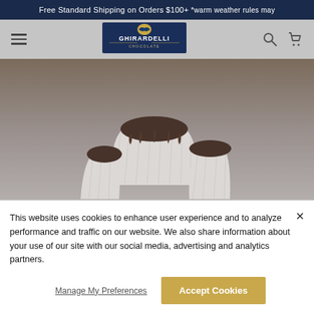Free Standard Shipping on Orders $100+ *warm weather rules may
[Figure (logo): Ghirardelli Chocolate logo with eagle emblem in navy blue rectangular frame]
[Figure (photo): Close-up photo of chocolate cupcakes in white paper liners with dark chocolate visible]
BE THE FIRST TO REVIEW THIS RECIPE
This website uses cookies to enhance user experience and to analyze performance and traffic on our website. We also share information about your use of our site with our social media, advertising and analytics partners.
Manage My Preferences
Accept Cookies